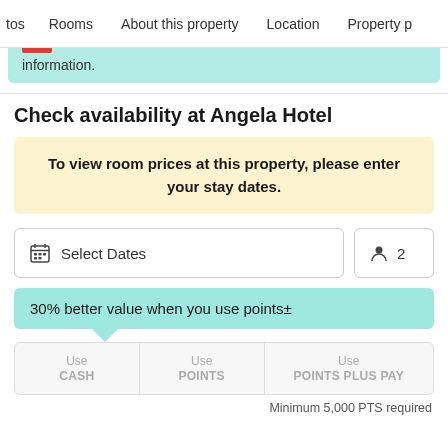tos  Rooms  About this property  Location  Property p
information.
Check availability at Angela Hotel
To view room prices at this property, please enter your stay dates.
Select Dates   2
30% better value when you use points±
Use CASH   Use POINTS   Use POINTS PLUS PAY
Minimum 5,000 PTS required